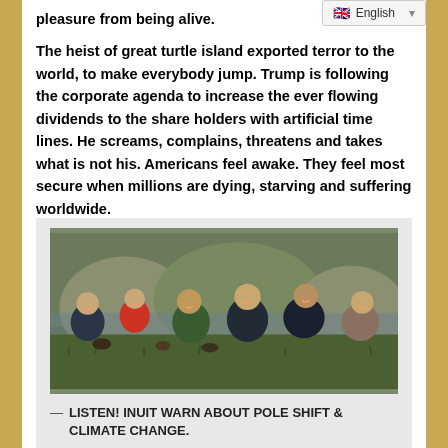pleasure from being alive.
The heist of great turtle island exported terror to the world, to make everybody jump. Trump is following the corporate agenda to increase the ever flowing dividends to the share holders with artificial time lines. He screams, complains, threatens and takes what is not his. Americans feel awake. They feel most secure when millions are dying, starving and suffering worldwide.
[Figure (photo): Group of six Inuit people sitting together on grassy ground outdoors, smiling at the camera.]
— LISTEN! INUIT WARN ABOUT POLE SHIFT & CLIMATE CHANGE.